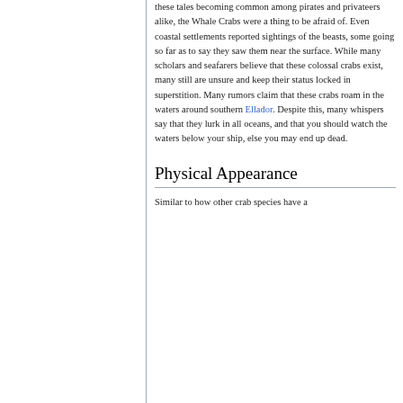these tales becoming common among pirates and privateers alike, the Whale Crabs were a thing to be afraid of. Even coastal settlements reported sightings of the beasts, some going so far as to say they saw them near the surface. While many scholars and seafarers believe that these colossal crabs exist, many still are unsure and keep their status locked in superstition. Many rumors claim that these crabs roam in the waters around southern Ellador. Despite this, many whispers say that they lurk in all oceans, and that you should watch the waters below your ship, else you may end up dead.
Physical Appearance
Similar to how other crab species have a